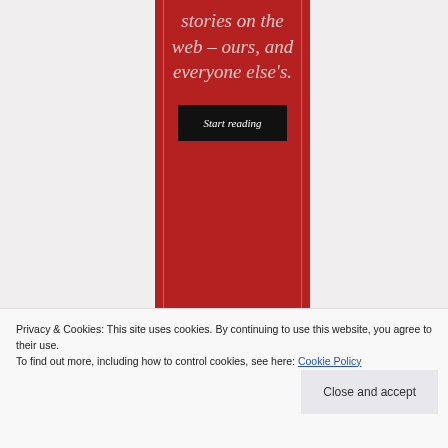[Figure (illustration): Red banner/column with italic serif text reading 'stories on the web – ours, and everyone else's.' and a black 'Start reading' button below the text]
Privacy & Cookies: This site uses cookies. By continuing to use this website, you agree to their use.
To find out more, including how to control cookies, see here: Cookie Policy
Close and accept